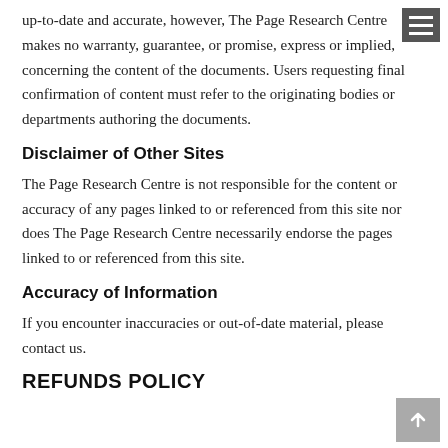up-to-date and accurate, however, The Page Research Centre makes no warranty, guarantee, or promise, express or implied, concerning the content of the documents. Users requesting final confirmation of content must refer to the originating bodies or departments authoring the documents.
Disclaimer of Other Sites
The Page Research Centre is not responsible for the content or accuracy of any pages linked to or referenced from this site nor does The Page Research Centre necessarily endorse the pages linked to or referenced from this site.
Accuracy of Information
If you encounter inaccuracies or out-of-date material, please contact us.
REFUNDS POLICY